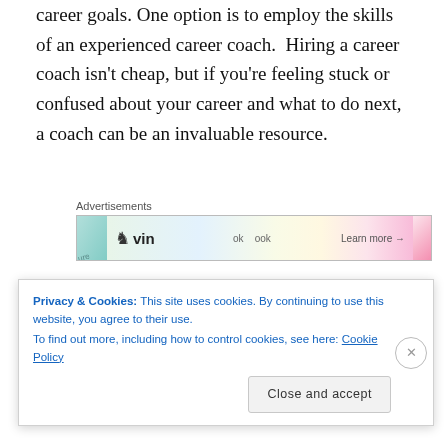career goals. One option is to employ the skills of an experienced career coach. Hiring a career coach isn't cheap, but if you're feeling stuck or confused about your career and what to do next, a coach can be an invaluable resource.
[Figure (screenshot): Advertisements banner showing a colorful ad strip with 'Advertisements' label above and a banner with headphone logo, 'vin' text, and 'Learn more' button]
A career coach will work with you to help you achieve your goals. This could include helping you
Privacy & Cookies: This site uses cookies. By continuing to use this website, you agree to their use.
To find out more, including how to control cookies, see here: Cookie Policy
Close and accept